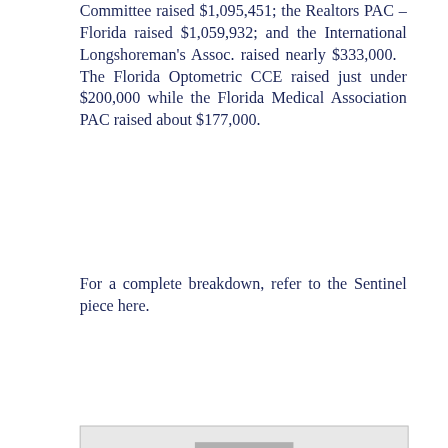Committee raised $1,095,451; the Realtors PAC – Florida raised $1,059,932; and the International Longshoreman's Assoc. raised nearly $333,000.  The Florida Optometric CCE raised just under $200,000 while the Florida Medical Association PAC raised about $177,000.
For a complete breakdown, refer to the Sentinel piece here.
[Figure (screenshot): Embedded content box with an inner gray rectangle, partially visible at the bottom of the page]